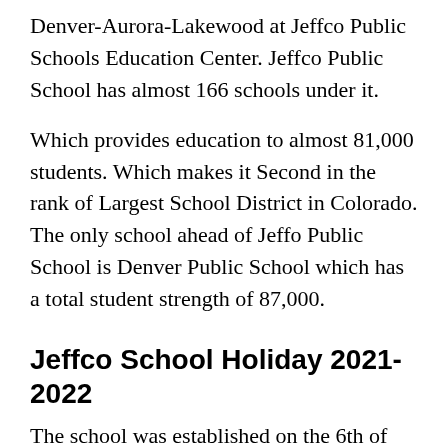Denver-Aurora-Lakewood at Jeffco Public Schools Education Center. Jeffco Public School has almost 166 schools under it.
Which provides education to almost 81,000 students. Which makes it Second in the rank of Largest School District in Colorado. The only school ahead of Jeffo Public School is Denver Public School which has a total student strength of 87,000.
Jeffco School Holiday 2021-2022
The school was established on the 6th of January,1860. The school initially had a total of 18 students who were financed by tuition